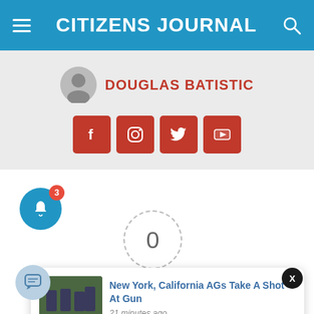CITIZENS JOURNAL
DOUGLAS BATISTIC
[Figure (screenshot): Social media icons: Facebook, Instagram, Twitter, YouTube - red square buttons]
[Figure (infographic): Blue bell notification icon with red badge showing number 3]
[Figure (infographic): Dashed circle with 0 inside (notification count)]
[Figure (infographic): Notification card: New York, California AGs Take A Shot At Gun - 21 minutes ago]
[Figure (infographic): X close button (dark circle)]
[Figure (infographic): Light blue chat bubble button]